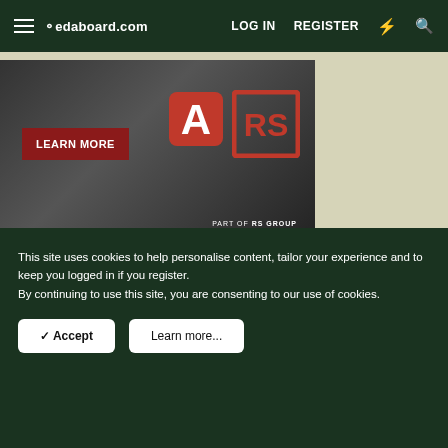edaboard.com  LOG IN  REGISTER
[Figure (photo): Advertisement banner for Allied Electronics / RS Group with LEARN MORE button and logos for A (Allied) and RS Group on dark background with red bar at bottom]
» SPONSOR
[Figure (photo): Power Electronics & Programmable Power Design Guide - grey banner with white bold text]
This site uses cookies to help personalise content, tailor your experience and to keep you logged in if you register.
By continuing to use this site, you are consenting to our use of cookies.
✓ Accept   Learn more...